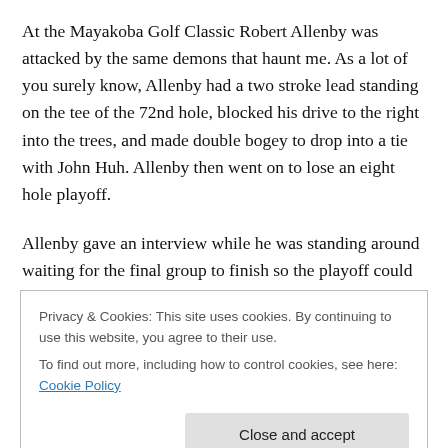At the Mayakoba Golf Classic Robert Allenby was attacked by the same demons that haunt me. As a lot of you surely know, Allenby had a two stroke lead standing on the tee of the 72nd hole, blocked his drive to the right into the trees, and made double bogey to drop into a tie with John Huh. Allenby then went on to lose an eight hole playoff.
Allenby gave an interview while he was standing around waiting for the final group to finish so the playoff could begin. Imagine how hard that must have been. You're
Privacy & Cookies: This site uses cookies. By continuing to use this website, you agree to their use.
To find out more, including how to control cookies, see here: Cookie Policy
Close and accept